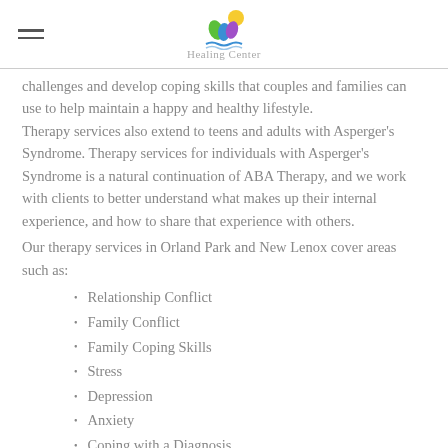Healing Center
challenges and develop coping skills that couples and families can use to help maintain a happy and healthy lifestyle. Therapy services also extend to teens and adults with Asperger's Syndrome. Therapy services for individuals with Asperger's Syndrome is a natural continuation of ABA Therapy, and we work with clients to better understand what makes up their internal experience, and how to share that experience with others.
Our therapy services in Orland Park and New Lenox cover areas such as:
Relationship Conflict
Family Conflict
Family Coping Skills
Stress
Depression
Anxiety
Coping with a Diagnosis